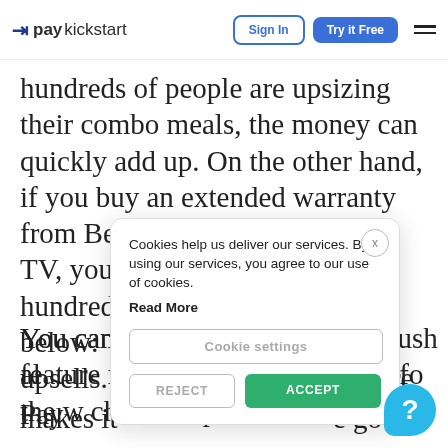paykickstart — Sign In | Try it Free
hundreds of people are upsizing their combo meals, the money can quickly add up. On the other hand, if you buy an extended warranty from Best Buy for an expensive TV, you might be shelling out hundreds of dollars, as is seen below:
You can al… to push upsells. Pay… feature makes it ea… e goo… without for… the w… checkout p… ifer a
[Figure (screenshot): Cookie consent dialog with text: 'Cookies help us deliver our services. By using our services, you agree to our use of cookies. Read More' and buttons: 'Cookie settings', 'REJECT', 'ACCEPT']